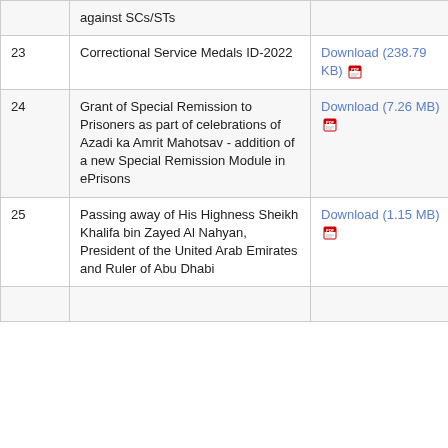| # | Description | Download | Votes |
| --- | --- | --- | --- |
|  | against SCs/STs |  |  |
| 23 | Correctional Service Medals ID-2022 | Download (238.79 KB) | 16-0 |
| 24 | Grant of Special Remission to Prisoners as part of celebrations of Azadi ka Amrit Mahotsav - addition of a new Special Remission Module in ePrisons | Download (7.26 MB) | 13-0 |
| 25 | Passing away of His Highness Sheikh Khalifa bin Zayed Al Nahyan, President of the United Arab Emirates and Ruler of Abu Dhabi | Download (1.15 MB) | 13-0 |
|  |  |  |  |